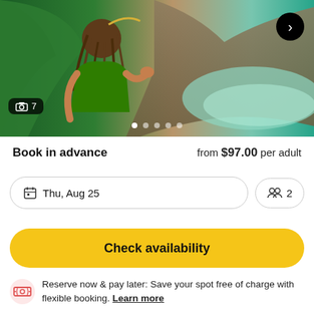[Figure (photo): Travel/tourism booking app screenshot showing a woman with dreadlocks in a green top at a tropical beach/cave location. Photo carousel with 7 images indicated. Navigation arrow visible top right. 5 dot indicators at bottom.]
Book in advance   from $97.00 per adult
Thu, Aug 25   2
Check availability
Reserve now & pay later: Save your spot free of charge with flexible booking. Learn more